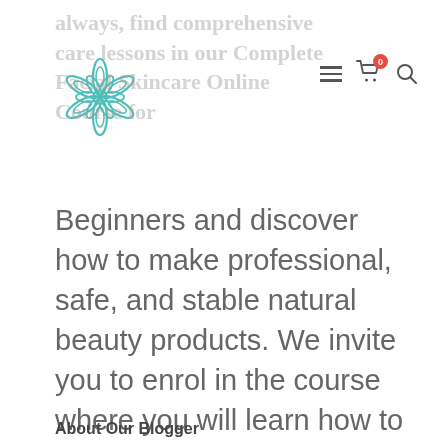[Figure (logo): Teal star/flower logo for a skincare/beauty website]
always, find comprehensive care lessons in our Complete Facial Skincare Online Course for
Beginners and discover how to make professional, safe, and stable natural beauty products. We invite you to enrol in the course where you will learn how to make a luxurious Hyaluronic acid serum, cleanser, cream, face mask, moisturiser, gel, lotion, serum, toner, mist, exfoliant, elixir, ointment and fresh cosmetics.
About Our Blogger